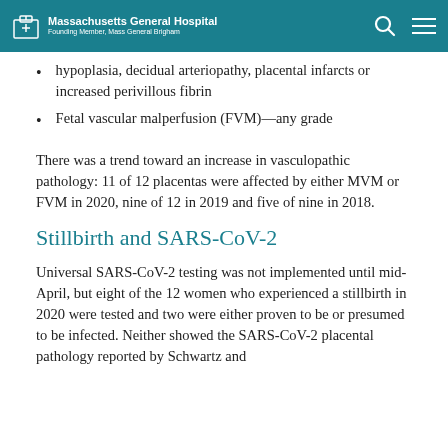Massachusetts General Hospital — Founding Member, Mass General Brigham
hypoplasia, decidual arteriopathy, placental infarcts or increased perivillous fibrin
Fetal vascular malperfusion (FVM)—any grade
There was a trend toward an increase in vasculopathic pathology: 11 of 12 placentas were affected by either MVM or FVM in 2020, nine of 12 in 2019 and five of nine in 2018.
Stillbirth and SARS-CoV-2
Universal SARS-CoV-2 testing was not implemented until mid-April, but eight of the 12 women who experienced a stillbirth in 2020 were tested and two were either proven to be or presumed to be infected. Neither showed the SARS-CoV-2 placental pathology reported by Schwartz and